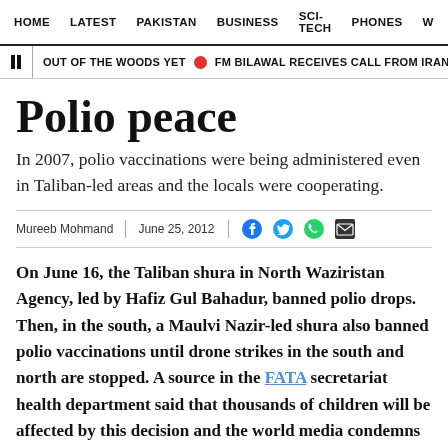HOME  LATEST  PAKISTAN  BUSINESS  SCI-TECH  PHONES  W
OUT OF THE WOODS YET  FM BILAWAL RECEIVES CALL FROM IRANIAN COUNTE
Polio peace
In 2007, polio vaccinations were being administered even in Taliban-led areas and the locals were cooperating.
Mureeb Mohmand  |  June 25, 2012
On June 16, the Taliban shura in North Waziristan Agency, led by Hafiz Gul Bahadur, banned polio drops. Then, in the south, a Maulvi Nazir-led shura also banned polio vaccinations until drone strikes in the south and north are stopped. A source in the FATA secretariat health department said that thousands of children will be affected by this decision and the world media condemns it.